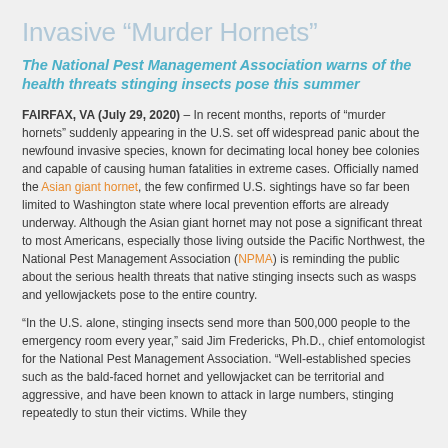Invasive “Murder Hornets”
The National Pest Management Association warns of the health threats stinging insects pose this summer
FAIRFAX, VA (July 29, 2020) – In recent months, reports of “murder hornets” suddenly appearing in the U.S. set off widespread panic about the newfound invasive species, known for decimating local honey bee colonies and capable of causing human fatalities in extreme cases. Officially named the Asian giant hornet, the few confirmed U.S. sightings have so far been limited to Washington state where local prevention efforts are already underway. Although the Asian giant hornet may not pose a significant threat to most Americans, especially those living outside the Pacific Northwest, the National Pest Management Association (NPMA) is reminding the public about the serious health threats that native stinging insects such as wasps and yellowjackets pose to the entire country.
“In the U.S. alone, stinging insects send more than 500,000 people to the emergency room every year,” said Jim Fredericks, Ph.D., chief entomologist for the National Pest Management Association. “Well-established species such as the bald-faced hornet and yellowjacket can be territorial and aggressive, and have been known to attack in large numbers, stinging repeatedly to stun their victims. While they